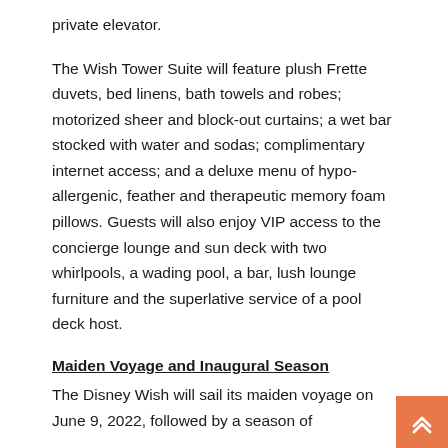private elevator.
The Wish Tower Suite will feature plush Frette duvets, bed linens, bath towels and robes; motorized sheer and block-out curtains; a wet bar stocked with water and sodas; complimentary internet access; and a deluxe menu of hypo-allergenic, feather and therapeutic memory foam pillows. Guests will also enjoy VIP access to the concierge lounge and sun deck with two whirlpools, a wading pool, a bar, lush lounge furniture and the superlative service of a pool deck host.
Maiden Voyage and Inaugural Season
The Disney Wish will sail its maiden voyage on June 9, 2022, followed by a season of